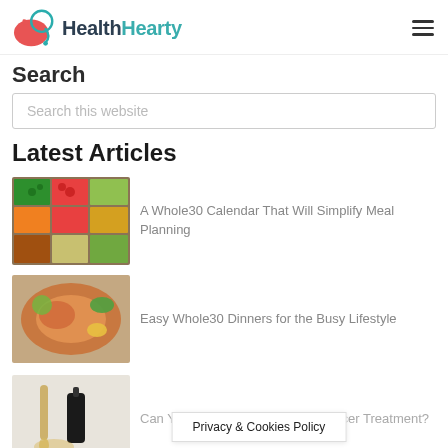HealthHearty
Search
Search this website
Latest Articles
[Figure (photo): Colorful vegetables in grid boxes — whole30 food items]
A Whole30 Calendar That Will Simplify Meal Planning
[Figure (photo): Grilled salmon and vegetables on a plate — whole30 dinner]
Easy Whole30 Dinners for the Busy Lifestyle
[Figure (photo): CBD oil bottle and dropper on white background]
Can You Use CBD Oil for Skin Cancer Treatment?
Privacy & Cookies Policy